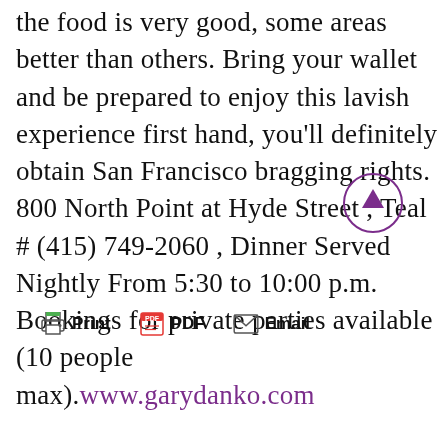the food is very good, some areas better than others. Bring your wallet and be prepared to enjoy this lavish experience first hand, you'll definitely obtain San Francisco bragging rights. 800 North Point at Hyde Street , Teal # (415) 749-2060 , Dinner Served Nightly From 5:30 to 10:00 p.m. Bookings for private parties available (10 people max).www.garydanko.com
[Figure (infographic): Action bar with Print, PDF, and Email icons and labels, plus a circular scroll-to-top button with an upward arrow]